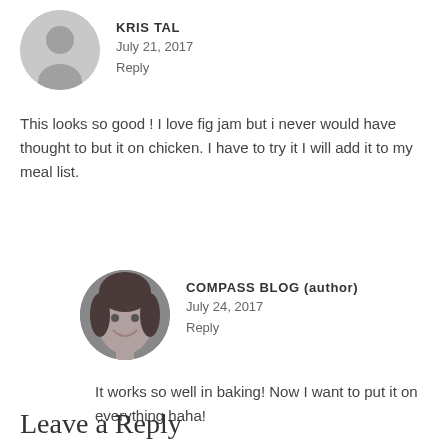KRISTAL
July 21, 2017
Reply
This looks so good ! I love fig jam but i never would have thought to but it on chicken. I have to try it I will add it to my meal list.
COMPASS BLOG (author)
July 24, 2017
Reply
It works so well in baking! Now I want to put it on everything haha!
Leave a Reply